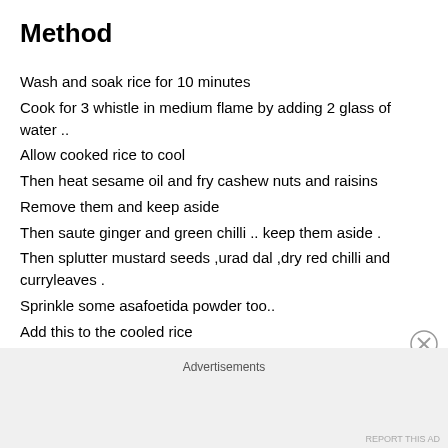Method
Wash and soak rice for 10 minutes
Cook for 3 whistle in medium flame by adding 2 glass of water ..
Allow cooked rice to cool
Then heat sesame oil and fry cashew nuts and raisins
Remove them and keep aside
Then saute ginger and green chilli .. keep them aside .
Then splutter mustard seeds ,urad dal ,dry red chilli and curryleaves .
Sprinkle some asafoetida powder too..
Add this to the cooled rice
Advertisements